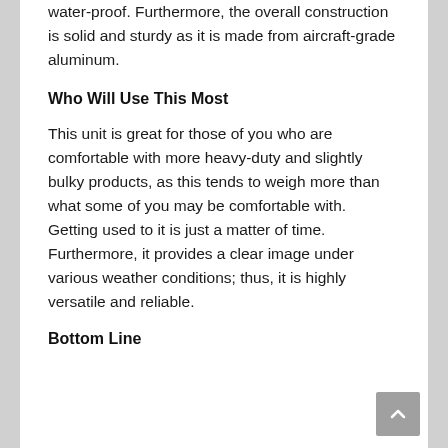water-proof. Furthermore, the overall construction is solid and sturdy as it is made from aircraft-grade aluminum.
Who Will Use This Most
This unit is great for those of you who are comfortable with more heavy-duty and slightly bulky products, as this tends to weigh more than what some of you may be comfortable with. Getting used to it is just a matter of time. Furthermore, it provides a clear image under various weather conditions; thus, it is highly versatile and reliable.
Bottom Line